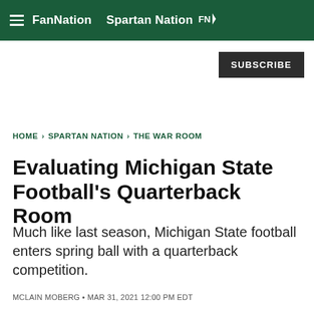FanNation  Spartan Nation
SUBSCRIBE
HOME > SPARTAN NATION > THE WAR ROOM
Evaluating Michigan State Football's Quarterback Room
Much like last season, Michigan State football enters spring ball with a quarterback competition.
MCLAIN MOBERG • MAR 31, 2021 12:00 PM EDT